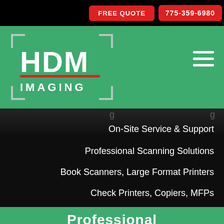FREE QUOTE  775-359-6980
[Figure (logo): HDM Imaging logo — white text HDM with red underline and IMAGING below, framed by bracket corners on a green background, with hamburger menu icon on right]
On-Site Service & Support
Professional Scanning Solutions
Book Scanners, Large Format Printers
Check Printers, Copiers, MFPs
Professional